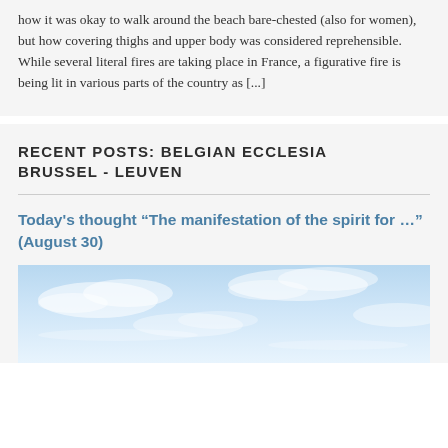how it was okay to walk around the beach bare-chested (also for women), but how covering thighs and upper body was considered reprehensible. While several literal fires are taking place in France, a figurative fire is being lit in various parts of the country as [...]
RECENT POSTS: BELGIAN ECCLESIA BRUSSEL - LEUVEN
Today's thought “The manifestation of the spirit for …” (August 30)
[Figure (photo): A blue sky with light wispy clouds, white and pale blue tones, bright and airy atmosphere.]